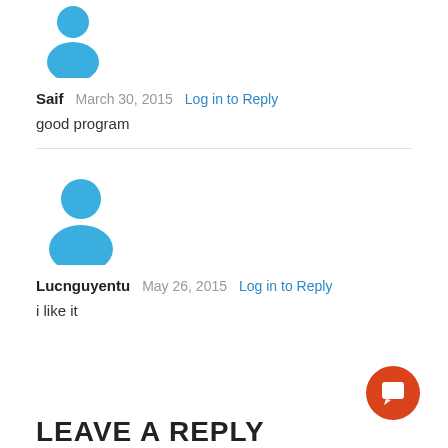[Figure (illustration): Blue generic user avatar icon (person silhouette), large, partially cropped at top]
Saif   March 30, 2015   Log in to Reply
good program
[Figure (illustration): Blue generic user avatar icon (person silhouette), medium size]
Lucnguyentu   May 26, 2015   Log in to Reply
i like it
LEAVE A REPLY